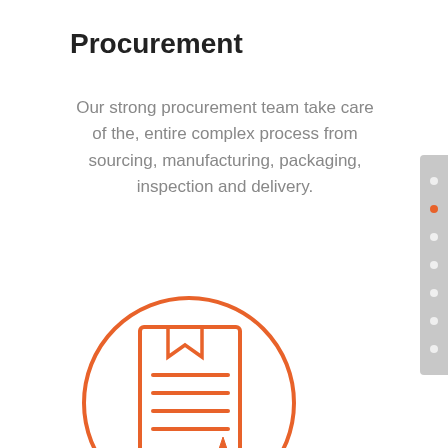Procurement
Our strong procurement team take care of the, entire complex process from sourcing, manufacturing, packaging, inspection and delivery.
[Figure (illustration): Orange circle outline containing a procurement/document icon with a bookmark, text lines, and a star badge, drawn in orange outline style]